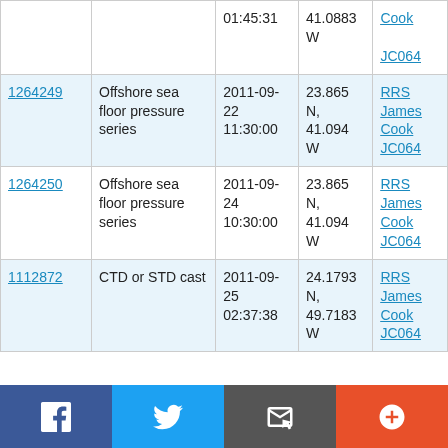| ID | Type | Date/Time | Location | Cruise |
| --- | --- | --- | --- | --- |
| [partial row cut off] |  | 01:45:31 | 41.0883 W | Cook
JC064 |
| 1264249 | Offshore sea floor pressure series | 2011-09-22
11:30:00 | 23.865 N, 41.094 W | RRS James Cook JC064 |
| 1264250 | Offshore sea floor pressure series | 2011-09-24
10:30:00 | 23.865 N, 41.094 W | RRS James Cook JC064 |
| 1112872 | CTD or STD cast | 2011-09-25
02:37:38 | 24.1793 N, 49.7183 W | RRS James Cook JC064 |